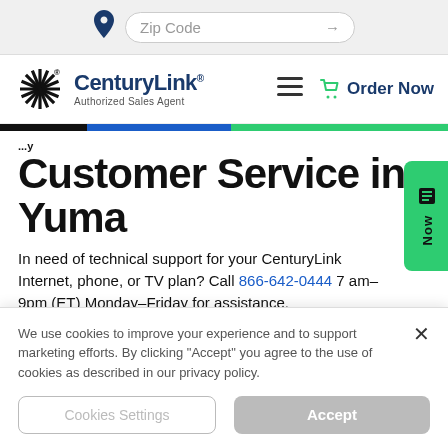[Figure (screenshot): Zip Code search bar with location pin icon and arrow]
[Figure (logo): CenturyLink Authorized Sales Agent logo with starburst icon]
Order Now
Customer Service in Yuma
In need of technical support for your CenturyLink Internet, phone, or TV plan? Call 866-642-0444 7 am–9pm (ET) Monday–Friday for assistance.
We use cookies to improve your experience and to support marketing efforts. By clicking "Accept" you agree to the use of cookies as described in our privacy policy.
Cookies Settings
Accept